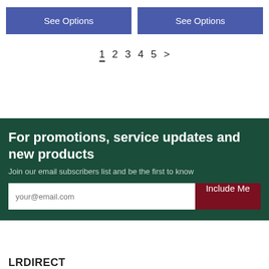See Options
See Options
1 2 3 4 5 >
For promotions, service updates and new products
Join our email subscribers list and be the first to know
your@email.com
Include Me
LRDIRECT